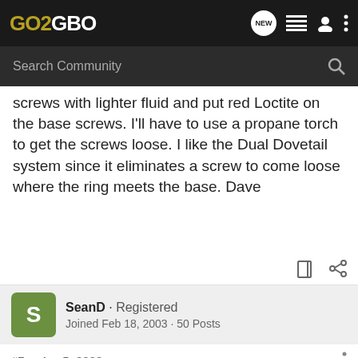GO2GBO
screws with lighter fluid and put red Loctite on the base screws. I'll have to use a propane torch to get the screws loose. I like the Dual Dovetail system since it eliminates a screw to come loose where the ring meets the base. Dave
SeanD · Registered
Joined Feb 18, 2003 · 50 Posts
#7 · Apr 5, 2003
weaver has some new mounts sure grip and 4x4, and the 4x4 is steel [ad] g problem[ad] Both
[Figure (screenshot): Cabela's Reloading Supplies advertisement banner with SHOP NOW button]